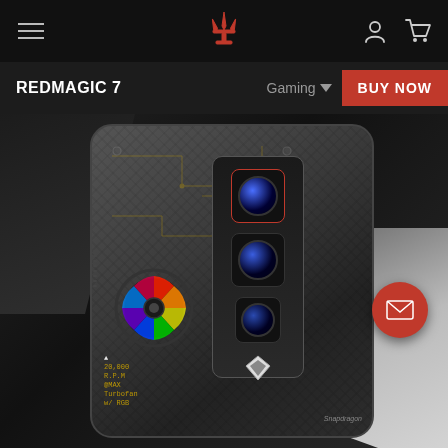REDMAGIC navigation bar with hamburger menu, RedMagic logo, user icon, and cart icon
REDMAGIC 7 | Gaming | BUY NOW
[Figure (photo): Close-up rear view of the RedMagic 7 gaming smartphone showing triple camera array, RGB cooling fan, carbon fiber texture back panel, and gaming design elements. Text on device reads: 20,000 R.P.M @MAX Turbofan w/ RGB. Bottom right shows Snapdragon branding.]